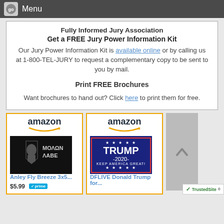Menu
Fully Informed Jury Association
Get a FREE Jury Power Information Kit
Our Jury Power Information Kit is available online or by calling us at 1-800-TEL-JURY to request a complementary copy to be sent to you by mail.
Print FREE Brochures
Want brochures to hand out? Click here to print them for free.
[Figure (other): Amazon advertisement showing a Molon Labe Spartan flag product. Price $5.99 with Prime shipping. Product: Anley Fly Breeze 3x5...]
[Figure (other): Amazon advertisement showing a DFLIVE Donald Trump 2020 Keep America Great flag. Product: DFLIVE Donald Trump for...]